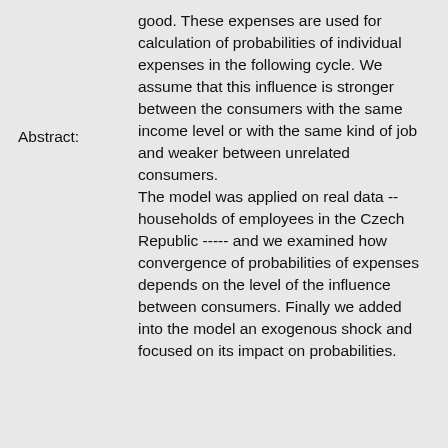Abstract: good. These expenses are used for calculation of probabilities of individual expenses in the following cycle. We assume that this influence is stronger between the consumers with the same income level or with the same kind of job and weaker between unrelated consumers. The model was applied on real data -- households of employees in the Czech Republic ----- and we examined how convergence of probabilities of expenses depends on the level of the influence between consumers. Finally we added into the model an exogenous shock and focused on its impact on probabilities.